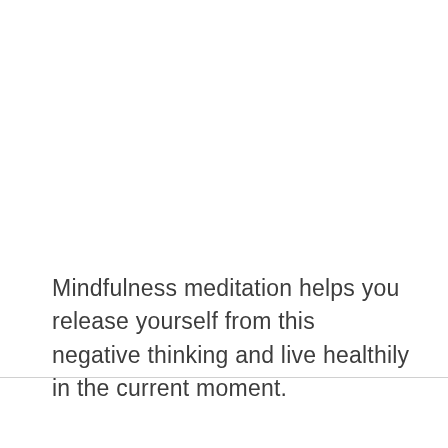Mindfulness meditation helps you release yourself from this negative thinking and live healthily in the current moment.